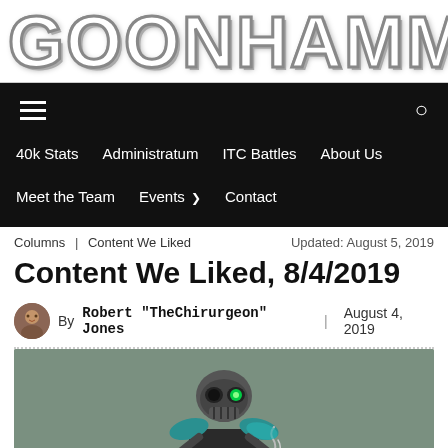[Figure (logo): Goonhammer website logo in large bold white text with gray emboss effect on white background]
Navigation bar with hamburger menu, search icon, and links: 40k Stats, Administratum, ITC Battles, About Us, Meet the Team, Events, Contact
Columns | Content We Liked    Updated: August 5, 2019
Content We Liked, 8/4/2019
By Robert "TheChirurgeon" Jones | August 4, 2019
[Figure (illustration): Illustrated cartoon character: a robot/necron skull figure with glowing green eye, teal shoulder pad, wearing a robe-like outfit, holding something, with a small smoking item. Gray-green background.]